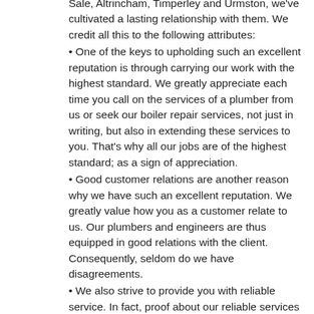Sale, Altrincham, Timperley and Urmston, we've cultivated a lasting relationship with them. We credit all this to the following attributes:
One of the keys to upholding such an excellent reputation is through carrying our work with the highest standard. We greatly appreciate each time you call on the services of a plumber from us or seek our boiler repair services, not just in writing, but also in extending these services to you. That's why all our jobs are of the highest standard; as a sign of appreciation.
Good customer relations are another reason why we have such an excellent reputation. We greatly value how you as a customer relate to us. Our plumbers and engineers are thus equipped in good relations with the client. Consequently, seldom do we have disagreements.
We also strive to provide you with reliable service. In fact, proof about our reliable services lies in our clientele. We pride ourselves in having served thousands of residents in Manchester. For that reason, many of our clients are as a result of referrals from satisfied clients.
How do we manage to carry out such pleasing work? One, we have a team of experienced engineers who have the skills to take on any plumbing and heating job. This